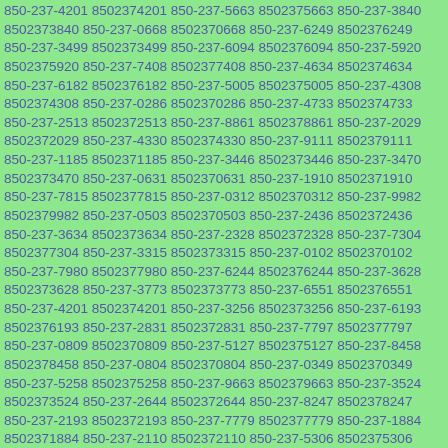850-237-4201 8502374201 850-237-5663 8502375663 850-237-3840 8502373840 850-237-0668 8502370668 850-237-6249 8502376249 850-237-3499 8502373499 850-237-6094 8502376094 850-237-5920 8502375920 850-237-7408 8502377408 850-237-4634 8502374634 850-237-6182 8502376182 850-237-5005 8502375005 850-237-4308 8502374308 850-237-0286 8502370286 850-237-4733 8502374733 850-237-2513 8502372513 850-237-8861 8502378861 850-237-2029 8502372029 850-237-4330 8502374330 850-237-9111 8502379111 850-237-1185 8502371185 850-237-3446 8502373446 850-237-3470 8502373470 850-237-0631 8502370631 850-237-1910 8502371910 850-237-7815 8502377815 850-237-0312 8502370312 850-237-9982 8502379982 850-237-0503 8502370503 850-237-2436 8502372436 850-237-3634 8502373634 850-237-2328 8502372328 850-237-7304 8502377304 850-237-3315 8502373315 850-237-0102 8502370102 850-237-7980 8502377980 850-237-6244 8502376244 850-237-3628 8502373628 850-237-3773 8502373773 850-237-6551 8502376551 850-237-4201 8502374201 850-237-3256 8502373256 850-237-6193 8502376193 850-237-2831 8502372831 850-237-7797 8502377797 850-237-0809 8502370809 850-237-5127 8502375127 850-237-8458 8502378458 850-237-0804 8502370804 850-237-0349 8502370349 850-237-5258 8502375258 850-237-9663 8502379663 850-237-3524 8502373524 850-237-2644 8502372644 850-237-8247 8502378247 850-237-2193 8502372193 850-237-7779 8502377779 850-237-1884 8502371884 850-237-2110 8502372110 850-237-5306 8502375306 850-237-8524 8502378524 850-237-4251 8502374251 850-237-5358 8502375358 850-237-2825 8502372825 850-237-6693 8502376693